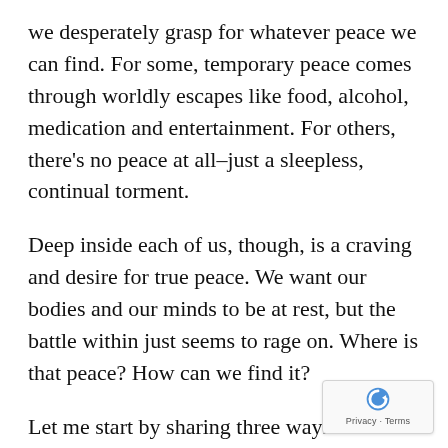we desperately grasp for whatever peace we can find. For some, temporary peace comes through worldly escapes like food, alcohol, medication and entertainment. For others, there's no peace at all–just a sleepless, continual torment.
Deep inside each of us, though, is a craving and desire for true peace. We want our bodies and our minds to be at rest, but the battle within just seems to rage on. Where is that peace? How can we find it?
Let me start by sharing three ways we wrongly search for peace: